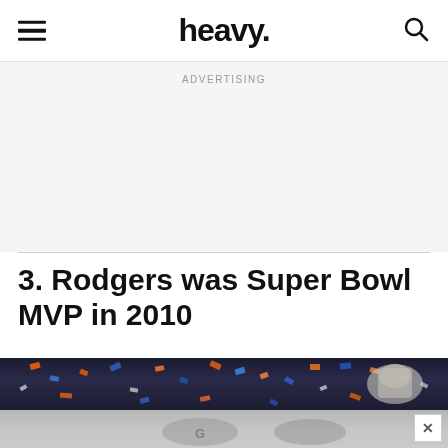heavy.
ADVERTISING
3. Rodgers was Super Bowl MVP in 2010
[Figure (photo): Football celebration scene with confetti falling in blue and orange colors, trophy visible on right, Green Bay Packers championship caps visible in lower portion]